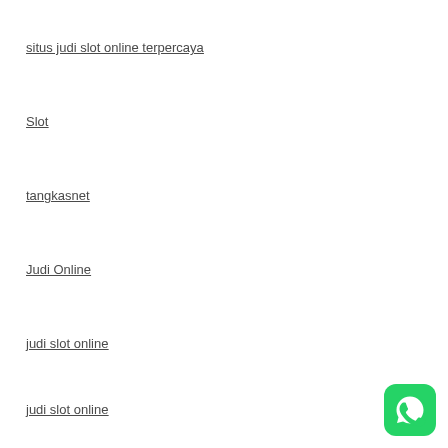situs judi slot online terpercaya
Slot
tangkasnet
Judi Online
judi slot online
judi slot online
[Figure (logo): WhatsApp green icon with white phone/chat symbol, rounded square shape]